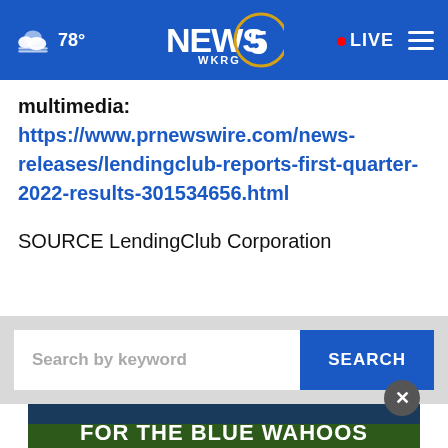WKRG NEWS 5 — 78° | LIVE
multimedia:https://www.prnewswire.com/news-releases/lendingclub-reports-first-quarter-2022-results-301534656.html
SOURCE LendingClub Corporation
[Figure (screenshot): Search bar with placeholder text 'Search by keyword' and a blue SEARCH button, on a gray background]
[Figure (photo): Advertisement banner showing a baseball stadium with the text 'FOR THE BLUE WAHOOS' and 'FIND YOUR SOLAR SOLUTION']